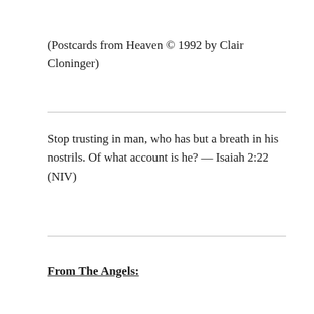(Postcards from Heaven © 1992 by Clair Cloninger)
Stop trusting in man, who has but a breath in his nostrils. Of what account is he? — Isaiah 2:22 (NIV)
From The Angels: